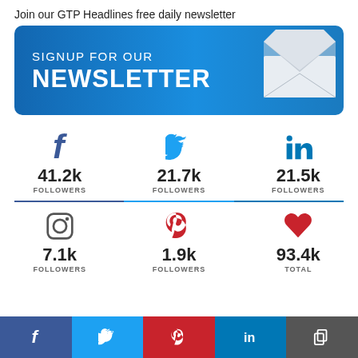Join our GTP Headlines free daily newsletter
[Figure (infographic): Blue rounded banner with text SIGNUP FOR OUR NEWSLETTER and an envelope graphic on the right]
[Figure (infographic): Social media follower counts: Facebook 41.2k, Twitter 21.7k, LinkedIn 21.5k, Instagram 7.1k, Pinterest 1.9k, Total 93.4k]
[Figure (infographic): Footer bar with social media buttons: Facebook, Twitter, Pinterest, LinkedIn, Copy]